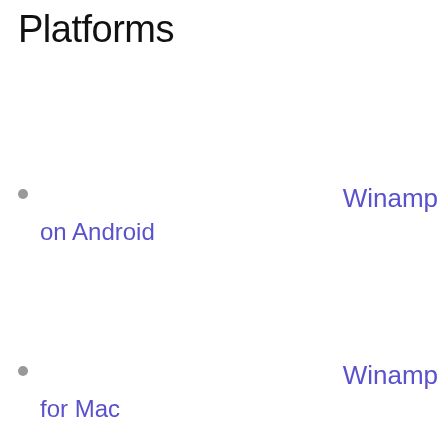Platforms
Winamp on Android
Winamp for Mac